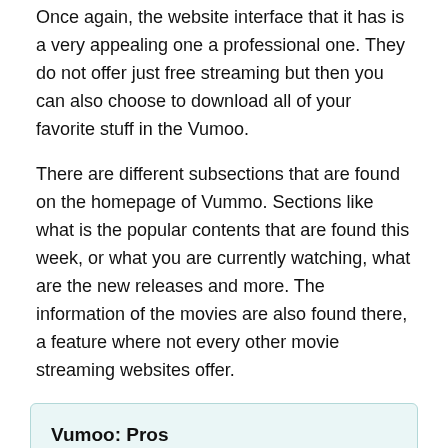Once again, the website interface that it has is a very appealing one a professional one. They do not offer just free streaming but then you can also choose to download all of your favorite stuff in the Vumoo.
There are different subsections that are found on the homepage of Vummo. Sections like what is the popular contents that are found this week, or what you are currently watching, what are the new releases and more. The information of the movies are also found there, a feature where not every other movie streaming websites offer.
Vumoo: Pros
Premium design